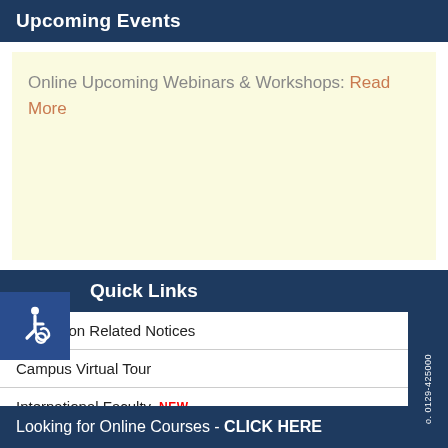Upcoming Events
Online Upcoming Webinars & Workshops: Read More
Quick Links
Admission Related Notices
Campus Virtual Tour
International Faculty NEW
Grievance Redressal System – MRIIRS
Looking for Online Courses - CLICK HERE
o. 0129-425000